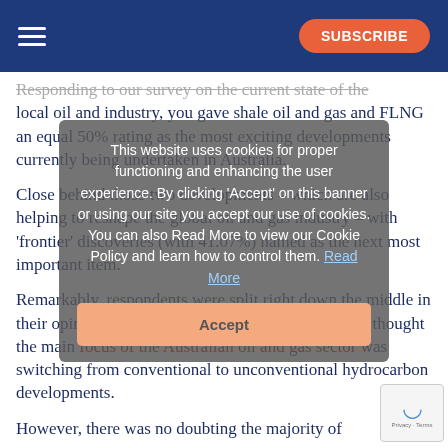SUBSCRIBE
Responding to our survey on the current state of the local oil and industry, you gave shale oil and gas and FLNG an equal 50% rating as the most exciting developments currently being undertaken in Australia.
Close behind those two developments – which are also helping to reshape the global oil and gas industry – with 'frontier' discoveries (with 41.07%) named as the next most important item.
Remarkably, respondents were split right down the middle in their opinion to a separate question on whether they thought the main focus of the Australian oil and gas sector was switching from conventional to unconventional hydrocarbon developments.
However, there was no doubting the majority of
This website uses cookies for proper functioning and enhancing the user experience. By clicking 'Accept' on this banner or using our site you accept our use of cookies. You can also Read More to view our Cookie Policy and learn how to control them. Read More